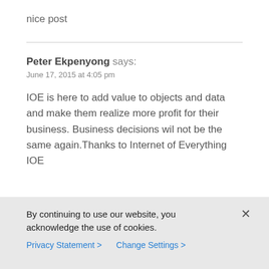nice post
Peter Ekpenyong says:
June 17, 2015 at 4:05 pm
IOE is here to add value to objects and data and make them realize more profit for their business. Business decisions wil not be the same again.Thanks to Internet of Everything IOE
By continuing to use our website, you acknowledge the use of cookies.
Privacy Statement >   Change Settings >